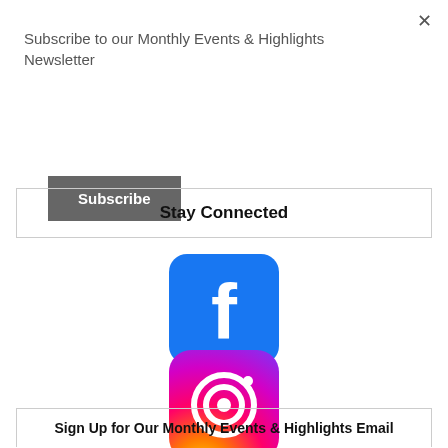Subscribe to our Monthly Events & Highlights Newsletter
[Figure (other): Subscribe button - dark gray rectangular button with white bold text 'Subscribe']
Stay Connected
[Figure (logo): Facebook logo icon - dark blue rounded square with white lowercase 'f']
[Figure (logo): Instagram logo icon - rounded square with gradient from purple/pink to orange/yellow, white camera outline]
Sign Up for Our Monthly Events & Highlights Email